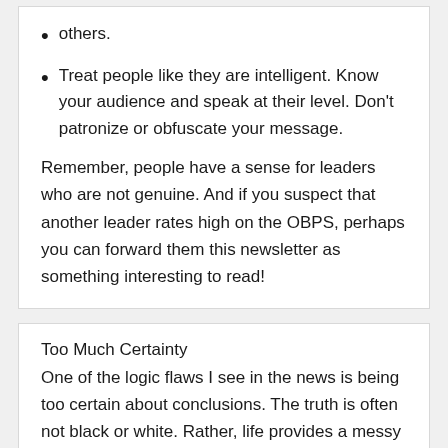others.
Treat people like they are intelligent. Know your audience and speak at their level. Don't patronize or obfuscate your message.
Remember, people have a sense for leaders who are not genuine. And if you suspect that another leader rates high on the OBPS, perhaps you can forward them this newsletter as something interesting to read!
Too Much Certainty
One of the logic flaws I see in the news is being too certain about conclusions. The truth is often not black or white. Rather, life provides a messy